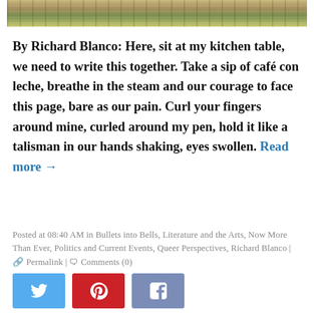[Figure (photo): Partial top image showing colorful outdoor scene, cropped at top of page]
By Richard Blanco: Here, sit at my kitchen table, we need to write this together. Take a sip of café con leche, breathe in the steam and our courage to face this page, bare as our pain. Curl your fingers around mine, curled around my pen, hold it like a talisman in our hands shaking, eyes swollen. Read more →
Posted at 08:40 AM in Bullets into Bells, Literature and the Arts, Now More Than Ever, Politics and Current Events, Queer Perspectives, Richard Blanco | 🔗 Permalink | 💬 Comments (0)
[Figure (other): Social sharing buttons: Twitter (blue), Pinterest (red), Facebook (grey-blue)]